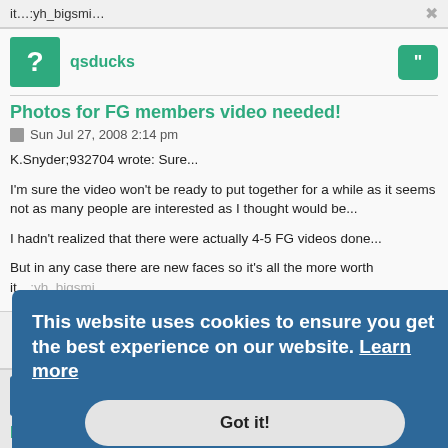it…:yh_bigsmi…
qsducks
Photos for FG members video needed!
Sun Jul 27, 2008 2:14 pm
K.Snyder;932704 wrote: Sure...

I'm sure the video won't be ready to put together for a while as it seems not as many people are interested as I thought would be...

I hadn't realized that there were actually 4-5 FG videos done...

But in any case there are new faces so it's all the more worth it…:yh_bigsmi…
This website uses cookies to ensure you get the best experience on our website. Learn more
Got it!
K.Snyder
Photos for FG members video needed!